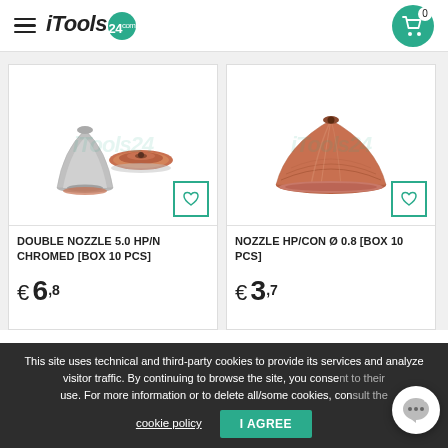iTools 24
[Figure (photo): Double nozzle 5.0 HP/N Chromed product image showing two conical nozzle parts]
DOUBLE NOZZLE 5.0 HP/N CHROMED [BOX 10 PCS]
€ 6,8
[Figure (photo): Single copper conical nozzle HP/CON product image]
NOZZLE HP/CON Ø 0.8 [BOX 10 PCS]
€ 3,7
This site uses technical and third-party cookies to provide its services and analyze visitor traffic. By continuing to browse the site, you consent to their use. For more information or to delete all/some cookies, consult the cookie policy
I AGREE